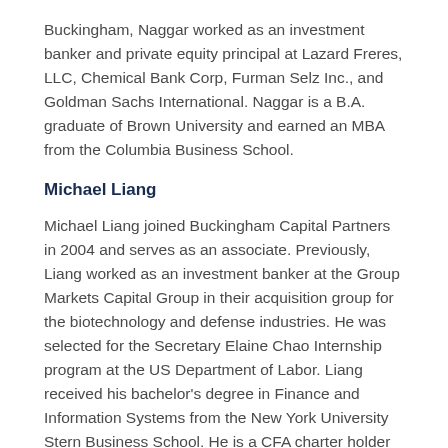Buckingham, Naggar worked as an investment banker and private equity principal at Lazard Freres, LLC, Chemical Bank Corp, Furman Selz Inc., and Goldman Sachs International. Naggar is a B.A. graduate of Brown University and earned an MBA from the Columbia Business School.
Michael Liang
Michael Liang joined Buckingham Capital Partners in 2004 and serves as an associate. Previously, Liang worked as an investment banker at the Group Markets Capital Group in their acquisition group for the biotechnology and defense industries. He was selected for the Secretary Elaine Chao Internship program at the US Department of Labor. Liang received his bachelor's degree in Finance and Information Systems from the New York University Stern Business School. He is a CFA charter holder and